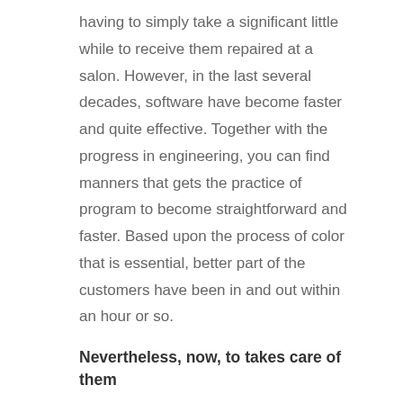having to simply take a significant little while to receive them repaired at a salon. However, in the last several decades, software have become faster and quite effective. Together with the progress in engineering, you can find manners that gets the practice of program to become straightforward and faster. Based upon the process of color that is essential, better part of the customers have been in and out within an hour or so.
Nevertheless, now, to takes care of them
In case You chance to be the type who's really a serial snoozer of the alarm at the early hours, or you are the sort who likes swearing by the air-drying of your hair, it will simply take you an endeavor to be the type who is equipped to issue in enough time for